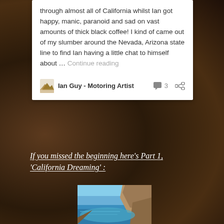through almost all of California whilst Ian got happy, manic, paranoid and sad on vast amounts of thick black coffee! I kind of came out of my slumber around the Nevada, Arizona state line to find Ian having a little chat to himself about … Continue reading
Ian Guy - Motoring Artist  3
If you missed the beginning here's Part 1, 'California Dreaming' :
[Figure (photo): Coastal landscape photo showing a blue ocean cove with rocky cliffs and clear blue sky]